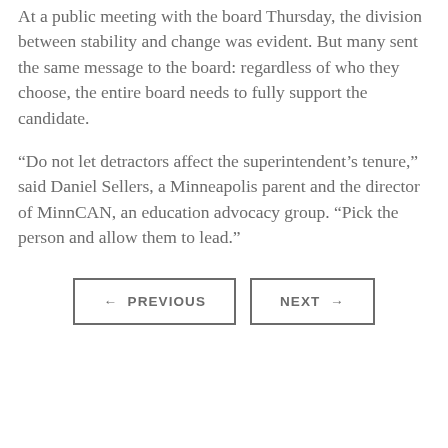At a public meeting with the board Thursday, the division between stability and change was evident. But many sent the same message to the board: regardless of who they choose, the entire board needs to fully support the candidate.
“Do not let detractors affect the superintendent’s tenure,” said Daniel Sellers, a Minneapolis parent and the director of MinnCAN, an education advocacy group. “Pick the person and allow them to lead.”
← PREVIOUS
NEXT →